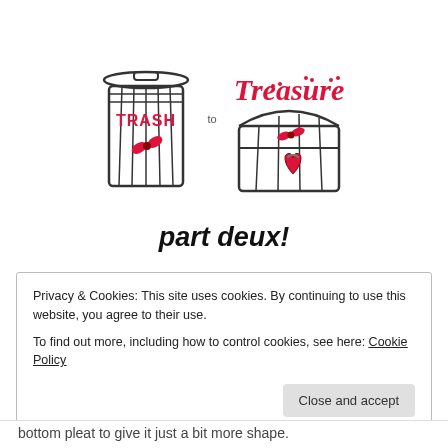[Figure (logo): Trash to Treasure logo: a trash can on the left with 'TRASH' in red, 'to' in smaller text, and 'Treasure' in red decorative script on the right with a treasure chest illustration]
part deux!
Privacy & Cookies: This site uses cookies. By continuing to use this website, you agree to their use.
To find out more, including how to control cookies, see here: Cookie Policy
Close and accept
bottom pleat to give it just a bit more shape.